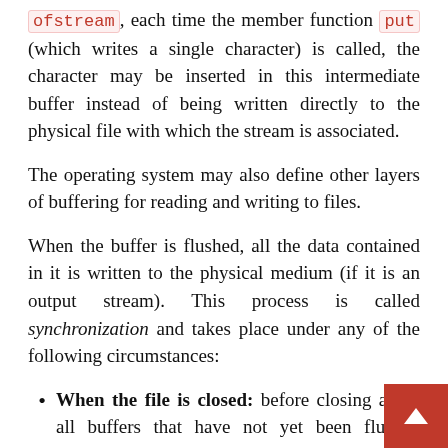ofstream, each time the member function put (which writes a single character) is called, the character may be inserted in this intermediate buffer instead of being written directly to the physical file with which the stream is associated.
The operating system may also define other layers of buffering for reading and writing to files.
When the buffer is flushed, all the data contained in it is written to the physical medium (if it is an output stream). This process is called synchronization and takes place under any of the following circumstances:
When the file is closed: before closing a file all buffers that have not yet been flushed are synchronized and all pending data is written or